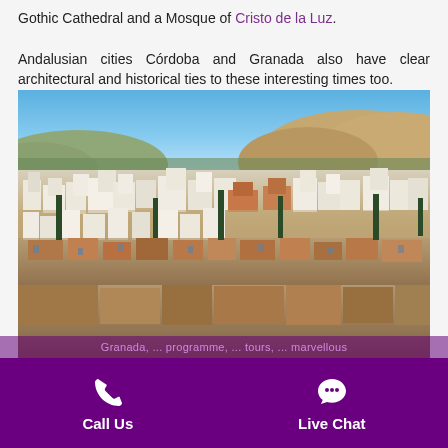Gothic Cathedral and a Mosque of Cristo de la Luz. Andalusian cities Córdoba and Granada also have clear architectural and historical ties to these interesting times too.
[Figure (photo): Aerial panoramic view of Granada, Spain, showing densely packed white buildings with terracotta rooftops, cypress trees, and hills in the background under a clear blue sky.]
Call Us   Live Chat